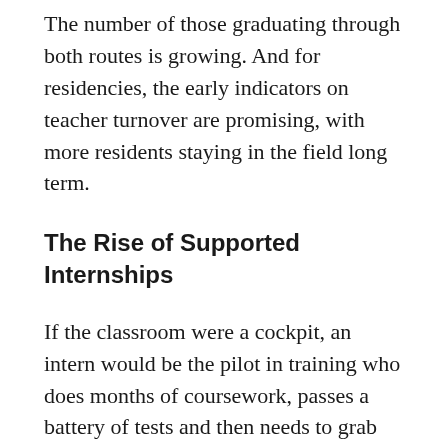The number of those graduating through both routes is growing. And for residencies, the early indicators on teacher turnover are promising, with more residents staying in the field long term.
The Rise of Supported Internships
If the classroom were a cockpit, an intern would be the pilot in training who does months of coursework, passes a battery of tests and then needs to grab the yoke — with lots of help from a coach. Interns get a